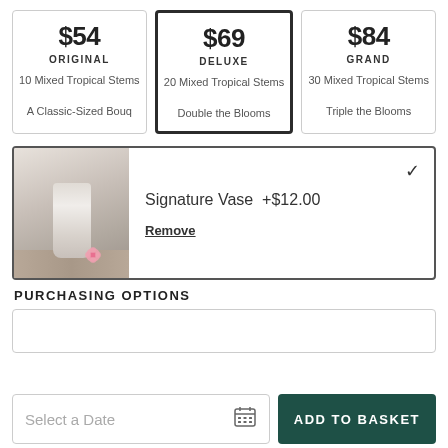$54 ORIGINAL — 10 Mixed Tropical Stems, A Classic-Sized Bouq
$69 DELUXE — 20 Mixed Tropical Stems, Double the Blooms
$84 GRAND — 30 Mixed Tropical Stems, Triple the Blooms
[Figure (photo): A white cylindrical vase on a wooden surface with a small pink flower beside it]
Signature Vase  +$12.00
Remove
PURCHASING OPTIONS
Select a Date
ADD TO BASKET